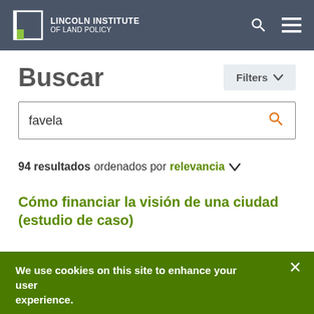Lincoln Institute of Land Policy
Buscar
Filters
favela
94 resultados ordenados por relevancia
Cómo financiar la visión de una ciudad (estudio de caso)
We use cookies on this site to enhance your user experience.